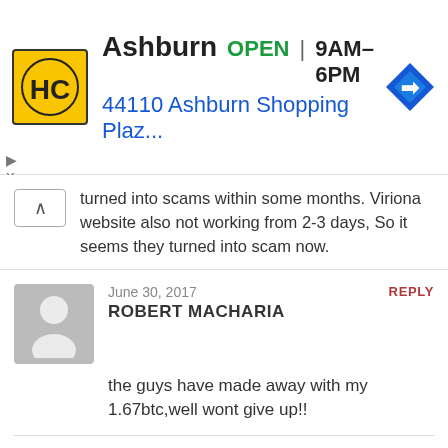[Figure (infographic): Ad banner: HC logo (yellow background), Ashburn OPEN 9AM-6PM, 44110 Ashburn Shopping Plaz..., navigation arrow icon]
turned into scams within some months. Viriona website also not working from 2-3 days, So it seems they turned into scam now.
June 30, 2017  ROBERT MACHARIA  REPLY
the guys have made away with my 1.67btc,well wont give up!!
July 4, 2017  ONLINE INCOME RESOURCES  REPLY